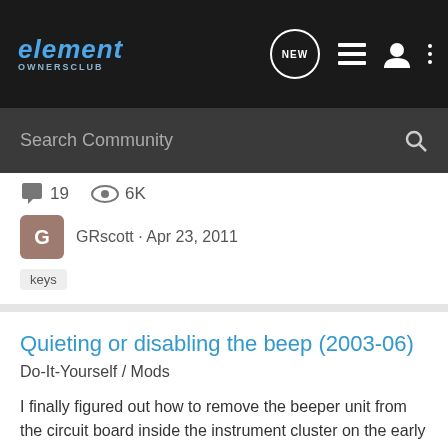element OWNERSCLUB
Search Community
19  6K
GRscott · Apr 23, 2011
keys
Quieting or disabling the beep (2003-06)
Do-It-Yourself / Mods
I finally figured out how to remove the beeper unit from the circuit board inside the instrument cluster on the early model Elements! Like many other E owners, I found that beeper to be annoyingly loud. For months I would check in to the forum looking for clues as to how to tame it... and I...
8  5K
kyre900 · Aug 8, 2010